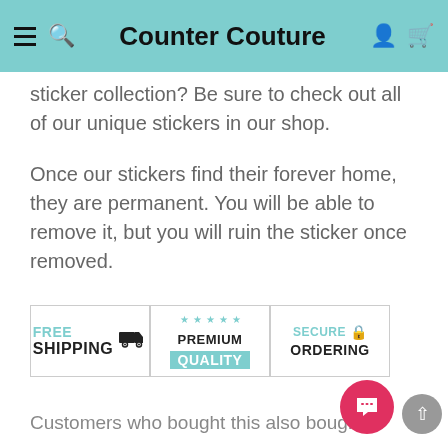Counter Couture
sticker collection? Be sure to check out all of our unique stickers in our shop.
Once our stickers find their forever home, they are permanent. You will be able to remove it, but you will ruin the sticker once removed.
[Figure (infographic): Three badges: FREE SHIPPING with truck icon, PREMIUM QUALITY with stars and teal background, SECURE ORDERING with lock icon]
Customers who bought this also bought